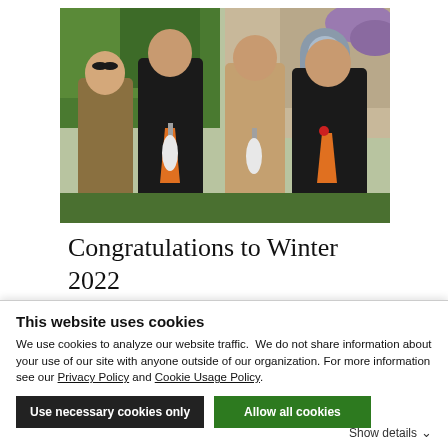[Figure (photo): Four people in Buddhist robes standing outdoors. Two pairs: left pair shows a shorter bald man in brown/gold robe and a taller man in black robe holding an orange ceremonial fan and white horsehair whisk; right pair shows a bald man in tan robe and a woman in black robes also holding orange fan and white horsehair whisk. Green foliage and brick building in background.]
Congratulations to Winter 2022 Shusos
This website uses cookies
We use cookies to analyze our website traffic.  We do not share information about your use of our site with anyone outside of our organization. For more information see our Privacy Policy and Cookie Usage Policy.
Use necessary cookies only
Allow all cookies
Show details